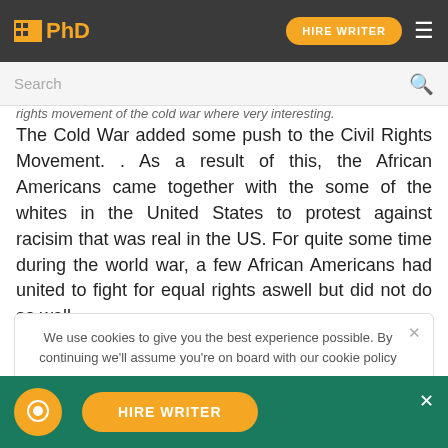IPhD | HIRE WRITER
Search
rights movement of the cold war where very interesting. The Cold War added some push to the Civil Rights Movement. . As a result of this, the African Americans came together with the some of the whites in the United States to protest against racisim that was real in the US. For quite some time during the world war, a few African Americans had united to fight for equal rights aswell but did not do so well.
We use cookies to give you the best experience possible. By continuing we'll assume you're on board with our cookie policy
Order custom essay American Life During & After the Cold War with free plagiarism report
HIRE WRITER